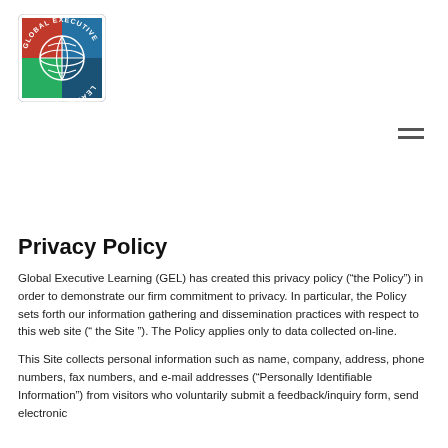[Figure (logo): Global Executive Learning logo: globe icon with red, blue, green segments and text 'GLOBAL EXECUTIVE LEARNING' around it]
Privacy Policy
Global Executive Learning (GEL) has created this privacy policy (“the Policy”) in order to demonstrate our firm commitment to privacy. In particular, the Policy sets forth our information gathering and dissemination practices with respect to this web site (“ the Site ”). The Policy applies only to data collected on-line.
This Site collects personal information such as name, company, address, phone numbers, fax numbers, and e-mail addresses (“Personally Identifiable Information”) from visitors who voluntarily submit a feedback/inquiry form, send electronic